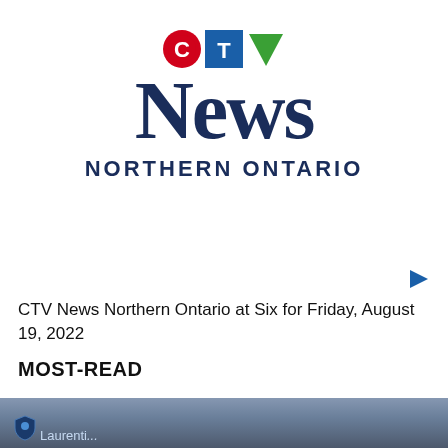[Figure (logo): CTV News Northern Ontario logo with red circle C, blue square T, green triangle V, large dark blue NEWS text, and NORTHERN ONTARIO subtitle]
[Figure (other): Blue right-pointing play arrow button]
CTV News Northern Ontario at Six for Friday, August 19, 2022
MOST-READ
[Figure (photo): Partial view of Laurentian University building sign with logo, dark exterior with cloudy sky]